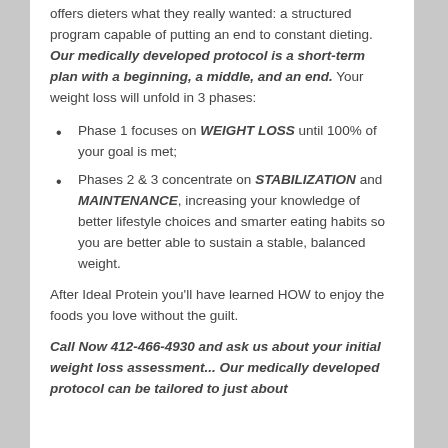offers dieters what they really wanted: a structured program capable of putting an end to constant dieting. Our medically developed protocol is a short-term plan with a beginning, a middle, and an end. Your weight loss will unfold in 3 phases:
Phase 1 focuses on WEIGHT LOSS until 100% of your goal is met;
Phases 2 & 3 concentrate on STABILIZATION and MAINTENANCE, increasing your knowledge of better lifestyle choices and smarter eating habits so you are better able to sustain a stable, balanced weight.
After Ideal Protein you'll have learned HOW to enjoy the foods you love without the guilt.
Call Now 412-466-4930 and ask us about your initial weight loss assessment... Our medically developed protocol can be tailored to just about